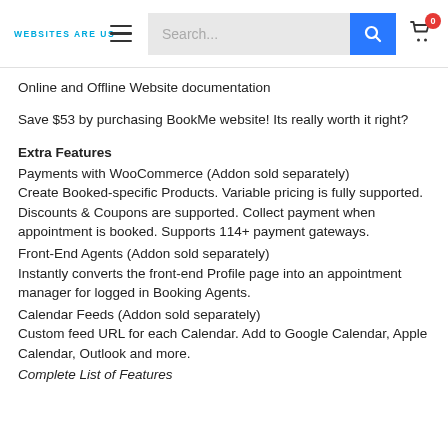WEBSITES ARE US  ☰  Search...  🔍  [cart: 0]
Online and Offline Website documentation
Save $53 by purchasing BookMe website! Its really worth it right?
Extra Features
Payments with WooCommerce (Addon sold separately)
Create Booked-specific Products. Variable pricing is fully supported. Discounts & Coupons are supported. Collect payment when appointment is booked. Supports 114+ payment gateways.
Front-End Agents (Addon sold separately)
Instantly converts the front-end Profile page into an appointment manager for logged in Booking Agents.
Calendar Feeds (Addon sold separately)
Custom feed URL for each Calendar. Add to Google Calendar, Apple Calendar, Outlook and more.
Complete List of Features